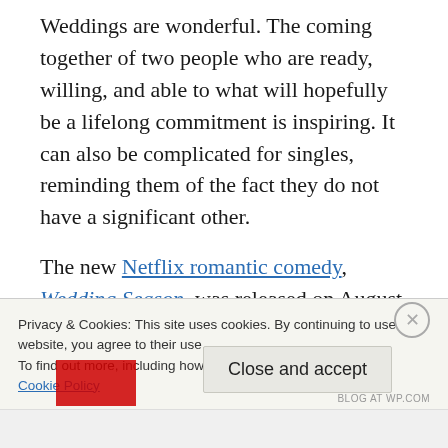Weddings are wonderful. The coming together of two people who are ready, willing, and able to what will hopefully be a lifelong commitment is inspiring. It can also be complicated for singles, reminding them of the fact they do not have a significant other.
The new Netflix romantic comedy, Wedding Season, was released on August 4th. Asha (Pallavi Sharda) has no interest in dating or getting married anytime soon. Neither does
Privacy & Cookies: This site uses cookies. By continuing to use this website, you agree to their use.
To find out more, including how to control cookies, see here:
Cookie Policy